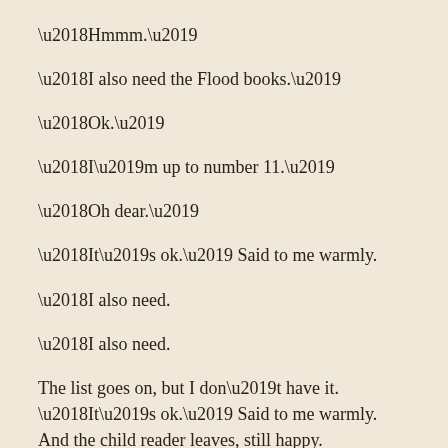‘Hmmm.’
‘I also need the Flood books.’
‘Ok.’
‘I’m up to number 11.’
‘Oh dear.’
‘It’s ok.’ Said to me warmly.
‘I also need.
‘I also need.
The list goes on, but I don’t have it. ‘It’s ok.’ Said to me warmly. And the child reader leaves, still happy.